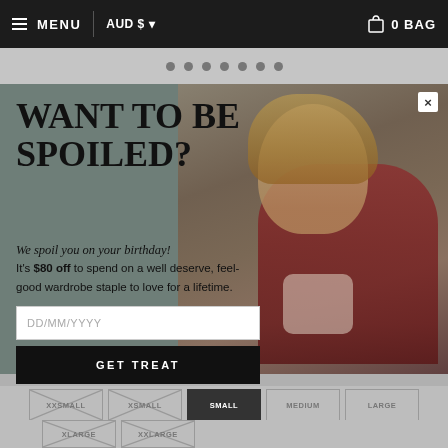MENU  AUD $  0 BAG
[Figure (screenshot): Carousel navigation dots — 7 circles in a row on a grey bar]
[Figure (photo): Fashion model wearing a red jacket over a white top, shoulder-length blonde hair, against a muted teal/grey background]
WANT TO BE SPOILED?
We spoil you on your birthday!
It's $80 off to spend on a well deserve, feel-good wardrobe staple to love for a lifetime.
DD/MM/YYYY
GET TREAT
XXSMALL  XSMALL  SMALL  MEDIUM  LARGE  XLARGE  XXLARGE